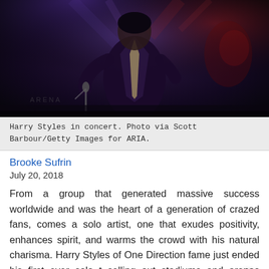[Figure (photo): Harry Styles performing in concert on a dark stage, wearing a patterned jacket, holding a microphone stand. Concert lighting with blue and red tones.]
Harry Styles in concert. Photo via Scott Barbour/Getty Images for ARIA.
Brooke Sufrin
July 20, 2018
From a group that generated massive success worldwide and was the heart of a generation of crazed fans, comes a solo artist, one that exudes positivity, enhances spirit, and warms the crowd with his natural charisma. Harry Styles of One Direction fame just ended his first ever solo t selling out stadiums and arenas worldwide. W